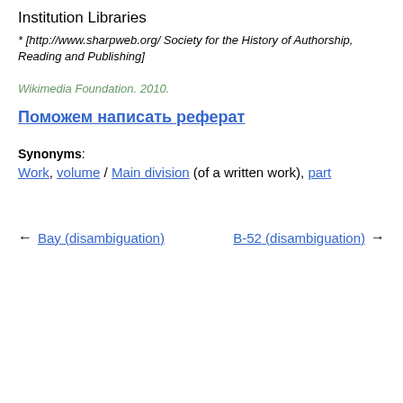Institution Libraries
* [http://www.sharpweb.org/ Society for the History of Authorship, Reading and Publishing]
Wikimedia Foundation. 2010.
Поможем написать реферат
Synonyms:
Work, volume / Main division (of a written work), part
← Bay (disambiguation)    B-52 (disambiguation) →